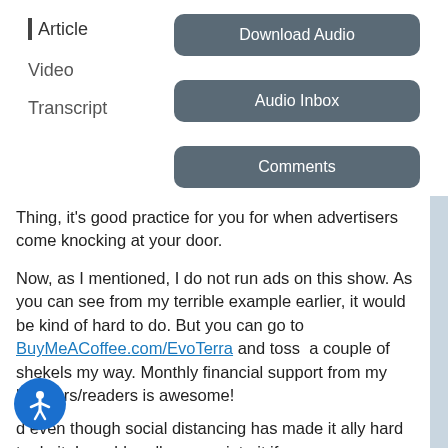| Article
Video
Transcript
[Figure (other): Download Audio button (rounded rectangle, dark grey-blue)]
[Figure (other): Audio Inbox button (rounded rectangle, dark grey-blue)]
[Figure (other): Comments button (rounded rectangle, dark grey-blue)]
Thing, it's good practice for you for when advertisers come knocking at your door.
Now, as I mentioned, I do not run ads on this show. As you can see from my terrible example earlier, it would be kind of hard to do. But you can go to BuyMeACoffee.com/EvoTerra and toss  a couple of shekels my way. Monthly financial support from my listeners/readers is awesome!
d even though social distancing has made it ally hard to do it, I would really appreciate it if